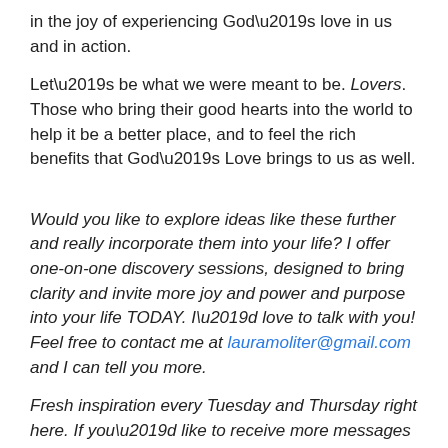in the joy of experiencing God’s love in us and in action.
Let’s be what we were meant to be. Lovers. Those who bring their good hearts into the world to help it be a better place, and to feel the rich benefits that God’s Love brings to us as well.
Would you like to explore ideas like these further and really incorporate them into your life? I offer one-on-one discovery sessions, designed to bring clarity and invite more joy and power and purpose into your life TODAY. I’d love to talk with you! Feel free to contact me at lauramoliter@gmail.com and I can tell you more.
Fresh inspiration every Tuesday and Thursday right here. If you’d like to receive more messages like these every